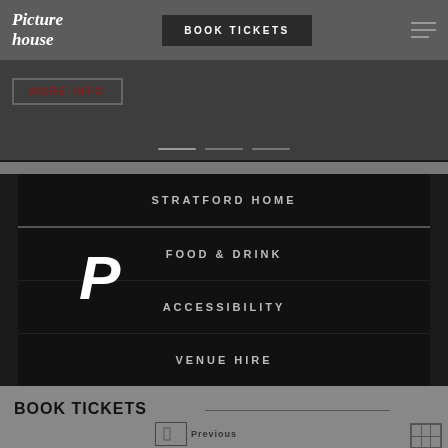[Figure (logo): Picturehouse logo in white italic script text]
BOOK TICKETS
[Figure (illustration): Hamburger menu icon (three horizontal lines)]
MORE INFO
[Figure (illustration): Three horizontal pagination dot/line indicators]
STRATFORD HOME
FOOD & DRINK
[Figure (logo): PushEngage P icon in white on transparent background]
ACCESSIBILITY
VENUE HIRE
INFORMATION
BOOK TICKETS
Previous